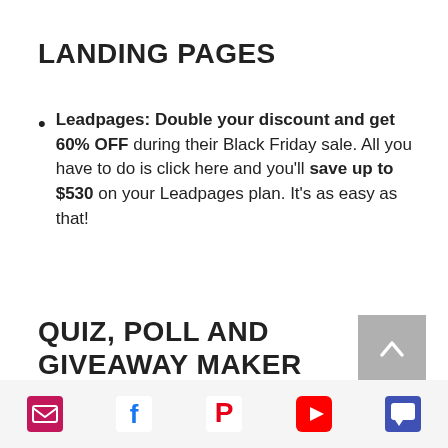LANDING PAGES
Leadpages: Double your discount and get 60% OFF during their Black Friday sale. All you have to do is click here and you'll save up to $530 on your Leadpages plan. It's as easy as that!
QUIZ, POLL AND GIVEAWAY MAKER
[Figure (infographic): Back to top arrow button (gray square with white chevron up)]
[Figure (infographic): Footer social media icons: email, Facebook, Pinterest, YouTube, chat/comment]